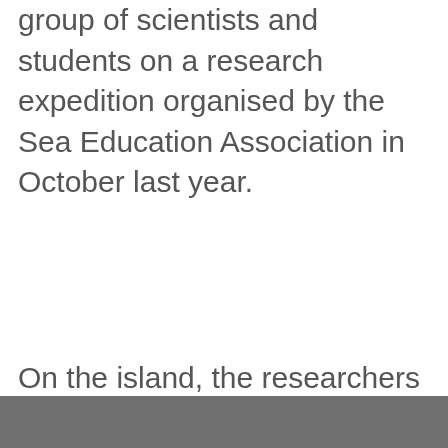group of scientists and students on a research expedition organised by the Sea Education Association in October last year.
On the island, the researchers conducted GPS measurements and aerial drone surveying